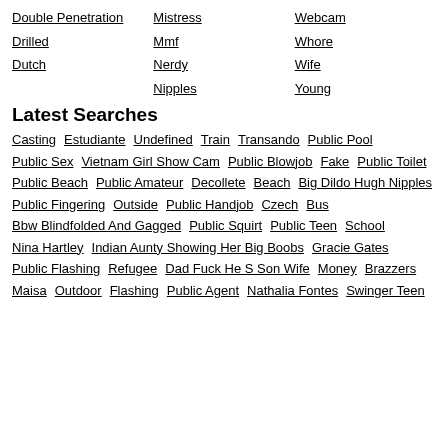Double Penetration
Drilled
Dutch
Mistress
Mmf
Nerdy
Nipples
Webcam
Whore
Wife
Young
Latest Searches
Casting  Estudiante  Undefined  Train  Transando  Public Pool  Public Sex  Vietnam Girl Show Cam  Public Blowjob  Fake  Public Toilet  Public Beach  Public Amateur  Decollete  Beach  Big Dildo Hugh Nipples  Public Fingering  Outside  Public Handjob  Czech  Bus  Bbw Blindfolded And Gagged  Public Squirt  Public Teen  School  Nina Hartley  Indian Aunty Showing Her Big Boobs  Gracie Gates  Public Flashing  Refugee  Dad Fuck He S Son Wife  Money  Brazzers  Maisa  Outdoor  Flashing  Public Agent  Nathalia Fontes  Swinger Teen